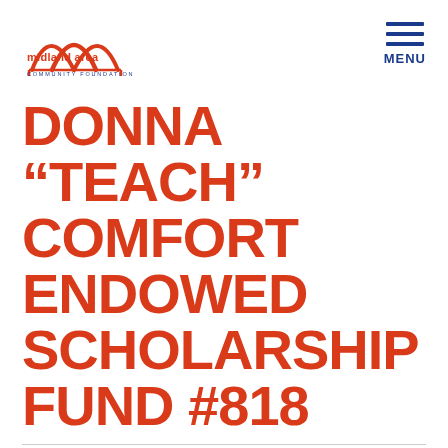[Figure (logo): Midland Area Community Foundation logo with red arch/bridge graphic above the text 'midland area COMMUNITY FOUNDATION' in blue and red]
DONNA “TEACH” COMFORT ENDOWED SCHOLARSHIP FUND #818
To provide an annual scholarship award to a